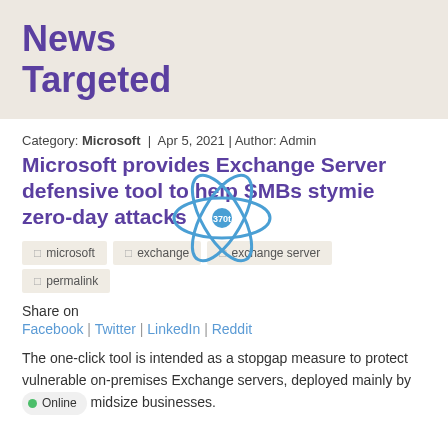News Targeted
Category: Microsoft  |  Apr 5, 2021 | Author: Admin
Microsoft provides Exchange Server defensive tool to help SMBs stymie zero-day attacks
microsoft
exchange
exchange server
permalink
Share on
Facebook | Twitter | LinkedIn | Reddit
The one-click tool is intended as a stopgap measure to protect vulnerable on-premises Exchange servers, deployed mainly by small and midsize businesses.